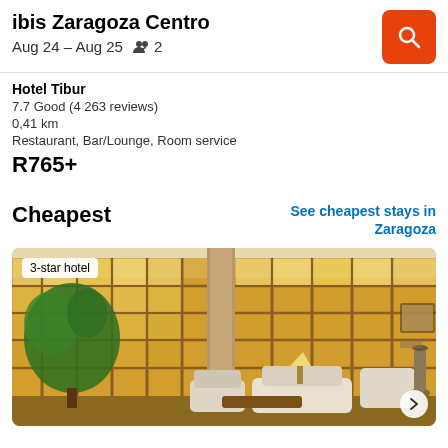ibis Zaragoza Centro Aug 24 – Aug 25  2
Hotel Tibur
7.7 Good (4 263 reviews)
0,41 km
Restaurant, Bar/Lounge, Room service
R765+
Cheapest
See cheapest stays in Zaragoza
[Figure (photo): Hotel lobby/lounge interior photo showing comfortable seating, large windows with warm wooden grid frames, a decorative plant, lamp, and a vase. A '3-star hotel' badge overlays the top-left corner.]